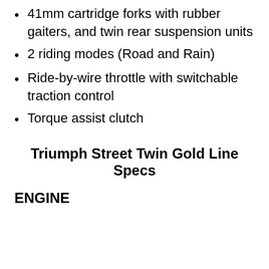41mm cartridge forks with rubber gaiters, and twin rear suspension units
2 riding modes (Road and Rain)
Ride-by-wire throttle with switchable traction control
Torque assist clutch
Triumph Street Twin Gold Line Specs
ENGINE